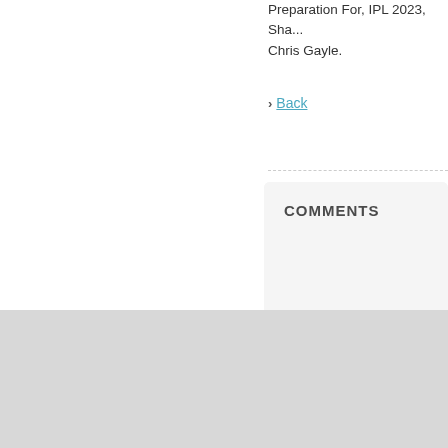Preparation For, IPL 2023, Sha... Chris Gayle.
Back
COMMENTS
Copyright © 2022 All Rights Reserved.